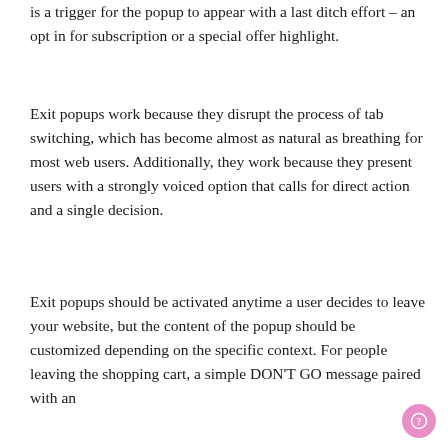is a trigger for the popup to appear with a last ditch effort – an opt in for subscription or a special offer highlight.
Exit popups work because they disrupt the process of tab switching, which has become almost as natural as breathing for most web users. Additionally, they work because they present users with a strongly voiced option that calls for direct action and a single decision.
Exit popups should be activated anytime a user decides to leave your website, but the content of the popup should be customized depending on the specific context. For people leaving the shopping cart, a simple DON'T GO message paired with an